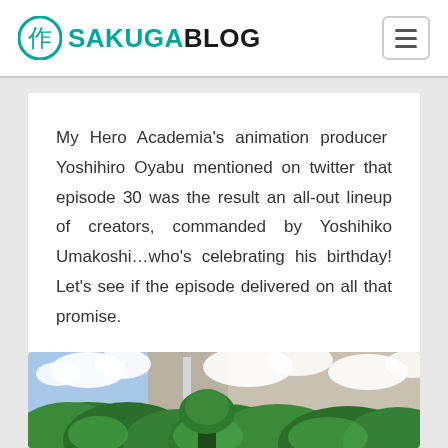SAKUGABLOG
My Hero Academia's animation producer Yoshihiro Oyabu mentioned on twitter that episode 30 was the result an all-out lineup of creators, commanded by Yoshihiko Umakoshi…who's celebrating his birthday! Let's see if the episode delivered on all that promise.
[Figure (photo): Anime screenshot showing a lush green forest with large trees and white clouds against a rocky cliff background, from My Hero Academia.]